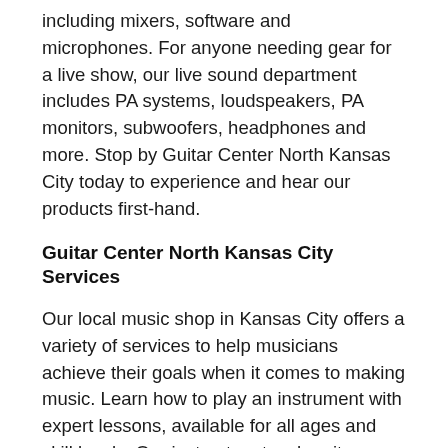including mixers, software and microphones. For anyone needing gear for a live show, our live sound department includes PA systems, loudspeakers, PA monitors, subwoofers, headphones and more. Stop by Guitar Center North Kansas City today to experience and hear our products first-hand.
Guitar Center North Kansas City Services
Our local music shop in Kansas City offers a variety of services to help musicians achieve their goals when it comes to making music. Learn how to play an instrument with expert lessons, available for all ages and skill levels. Our instructors teach guitar, bass, piano, drums and more. Learning to play is just the beginning. We also provide repairs, maintenance and modification services to ensure that your instrument stays in peak playing condition. Ready to play a show or record a song? Guitar Center North Kansas City